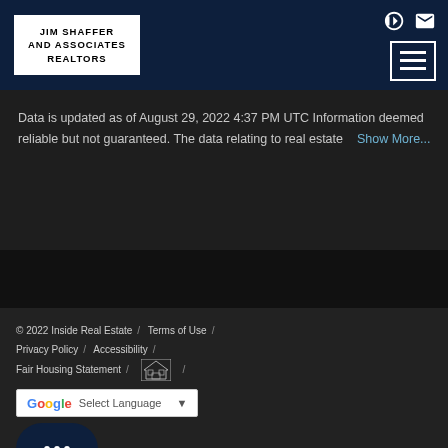JIM SHAFFER AND ASSOCIATES REALTORS
Data is updated as of August 29, 2022 4:37 PM UTC Information deemed reliable but not guaranteed. The data relating to real estate   Show More...
© 2022 Inside Real Estate / Terms of Use / Privacy Policy / Accessibility / Fair Housing Statement / [Equal Housing Logo] / Select Language ▼